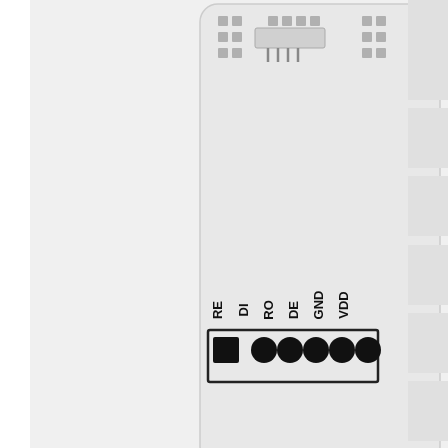[Figure (schematic): PCB module schematic showing connector pins labeled RE, DI, RO, DE, GND, VDD with circular pads and one square pad, plus additional connector rows at the top. Right side shows partial table/grid elements.]
Termination Resistor Jumper
The KAmodRS485 module is equipped with a jumper that allows to connect a 120Ohm terminating resistor to the RS485 bus line.
[Figure (schematic): Schematic of a 2-pin jumper connector with two circular pads on top and two labeled terminals B and A below, with additional connector elements partially visible at the bottom.]